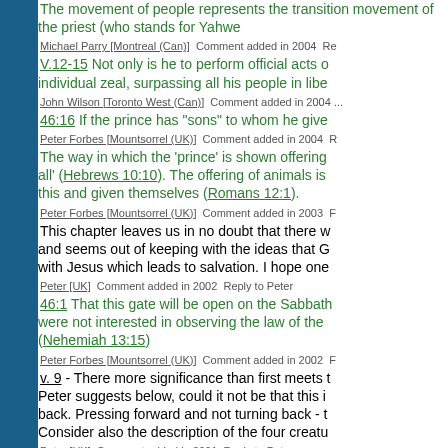The movement of people represents the transition movement of the priest (who stands for Yahwe...
Michael Parry [Montreal (Can)]  Comment added in 2004  Re...
V.12-15 Not only is he to perform official acts o... individual zeal, surpassing all his people in libe...
John Wilson [Toronto West (Can)]  Comment added in 2004 ...
46:16 If the prince has "sons" to whom he give...
Peter Forbes [Mountsorrel (UK)]  Comment added in 2004  R...
The way in which the 'prince' is shown offering all' (Hebrews 10:10). The offering of animals is this and given themselves (Romans 12:1).
Peter Forbes [Mountsorrel (UK)]  Comment added in 2003  F...
This chapter leaves us in no doubt that there w... and seems out of keeping with the ideas that G... with Jesus which leads to salvation. I hope one...
Peter  [UK]  Comment added in 2002  Reply to Peter
46:1 That this gate will be open on the Sabbath were not interested in observing the law of the (Nehemiah 13:15)
Peter Forbes [Mountsorrel (UK)]  Comment added in 2002  F...
v. 9 - There more significance than first meets ... Peter suggests below, could it not be that this i... back. Pressing forward and not turning back - t... Consider also the description of the four creatu...
Peter  [UK]  Comment added in 2001  Reply to Peter
46:9 The simple description of movement of wo... will be many individuals coming to worship. Th... times.
Peter Forbes [Mountsorrel (UK)]  Comment added in 2001  F...